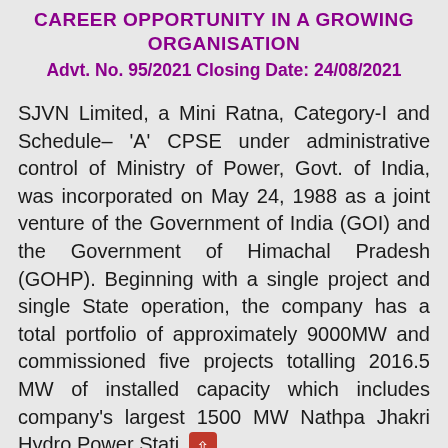CAREER OPPORTUNITY IN A GROWING ORGANISATION
Advt. No. 95/2021 Closing Date: 24/08/2021
SJVN Limited, a Mini Ratna, Category-I and Schedule– 'A' CPSE under administrative control of Ministry of Power, Govt. of India, was incorporated on May 24, 1988 as a joint venture of the Government of India (GOI) and the Government of Himachal Pradesh (GOHP). Beginning with a single project and single State operation, the company has a total portfolio of approximately 9000MW and commissioned five projects totalling 2016.5 MW of installed capacity which includes company's largest 1500 MW Nathpa Jhakri Hydro Power Stati (NJHRS). SJVN has laid Horizontal & Vertical